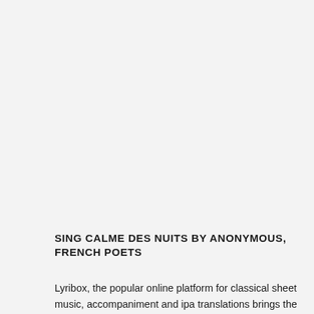SING CALME DES NUITS BY ANONYMOUS, FRENCH POETS
Lyribox, the popular online platform for classical sheet music, accompaniment and ipa translations brings the best of by